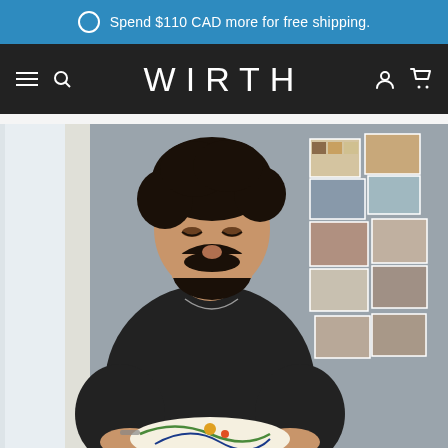Spend $110 CAD more for free shipping.
WIRTH
[Figure (photo): A bearded man with curly dark hair wearing a black t-shirt, looking down and working on an embroidered fabric piece. In the background, various photographs and fabric swatches are pinned to a wall. The setting appears to be a creative studio or workspace near a window.]